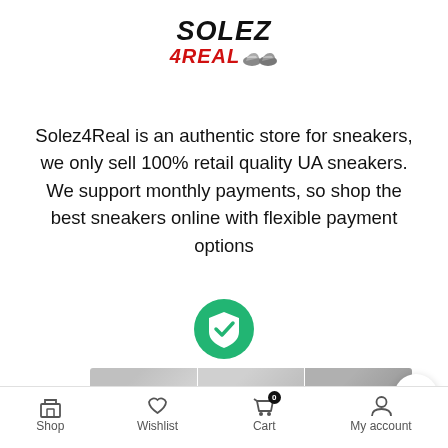[Figure (logo): Solez4Real logo with 'SOLEZ' in bold italic black and '4REAL' in bold italic red with sneaker icon]
Solez4Real is an authentic store for sneakers, we only sell 100% retail quality UA sneakers. We support monthly payments, so shop the best sneakers online with flexible payment options
[Figure (logo): HTTPS security badge — green shield with checkmark above bold text 'HTTPS']
[Figure (photo): Three sneaker product thumbnails shown side by side]
Shop  Wishlist  Cart  My account